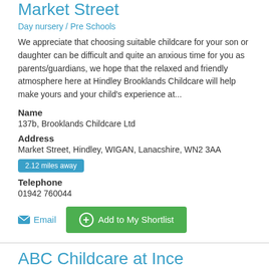Market Street
Day nursery / Pre Schools
We appreciate that choosing suitable childcare for your son or daughter can be difficult and quite an anxious time for you as parents/guardians, we hope that the relaxed and friendly atmosphere here at Hindley Brooklands Childcare will help make yours and your child's experience at...
Name
137b, Brooklands Childcare Ltd
Address
Market Street, Hindley, WIGAN, Lanacshire, WN2 3AA
2.12 miles away
Telephone
01942 760044
Email
Add to My Shortlist
ABC Childcare at Ince Community Centre
Day nursery / Pre Schools
ABC Childcare provides high quality childcare with highly